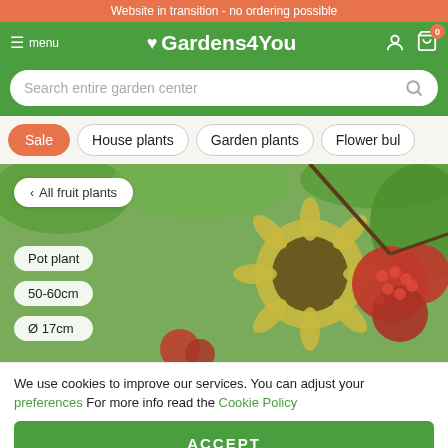Website in transition - no ordering possible
Gardens4You
[Figure (screenshot): Navigation bar with hamburger menu, Gardens4You logo with heart icon, user icon and cart icon with badge showing 0]
[Figure (screenshot): Search bar with placeholder text 'Search entire garden center' and search icon]
[Figure (screenshot): Category filter row with Sale (active/orange), House plants, Garden plants, Flower bul... buttons]
[Figure (photo): Photo of raspberries on plant with green leaves and a flower, overlaid with breadcrumb 'All fruit plants', and product info pills: Pot plant, 50-60cm, Ø 17cm]
We use cookies to improve our services. You can adjust your preferences For more info read the Cookie Policy
ACCEPT